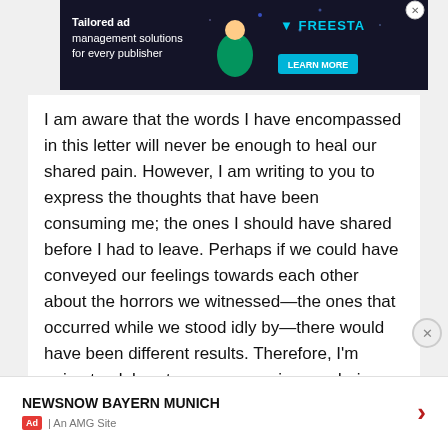[Figure (screenshot): Dark-themed advertisement banner for Freestar: 'Tailored ad management solutions for every publisher' with Learn More button and logo]
I am aware that the words I have encompassed in this letter will never be enough to heal our shared pain. However, I am writing to you to express the thoughts that have been consuming me; the ones I should have shared before I had to leave. Perhaps if we could have conveyed our feelings towards each other about the horrors we witnessed—the ones that occurred while we stood idly by—there would have been different results. Therefore, I'm going to elaborate on my experiences during the darkest time…
NEWSNOW BAYERN MUNICH  Ad | An AMG Site